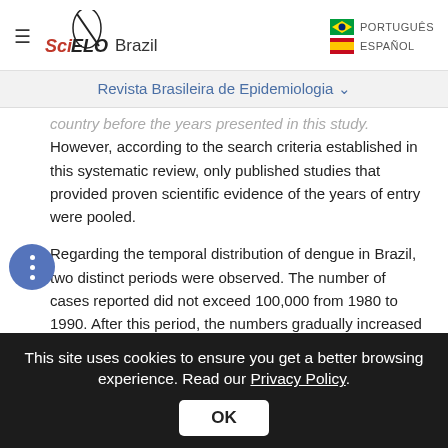SciELO Brazil — PORTUGUÊS / ESPAÑOL
Revista Brasileira de Epidemiologia
country before the years presented in this study. However, according to the search criteria established in this systematic review, only published studies that provided proven scientific evidence of the years of entry were pooled.
Regarding the temporal distribution of dengue in Brazil, two distinct periods were observed. The number of cases reported did not exceed 100,000 from 1980 to 1990. After this period, the numbers gradually increased and reached more than one million in the last years 7, 122, 123. This initial phase was characterized by localized and
This site uses cookies to ensure you get a better browsing experience. Read our Privacy Policy.